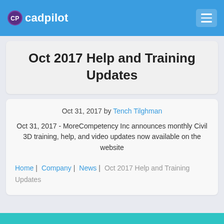cadpilot
Oct 2017 Help and Training Updates
Oct 31, 2017 by Tench Tilghman
Oct 31, 2017 - MoreCompetency Inc announces monthly Civil 3D training, help, and video updates now available on the website
Home | Company | News | Oct 2017 Help and Training Updates